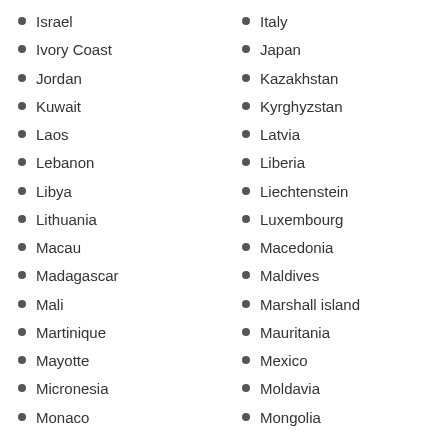Israel
Ivory Coast
Jordan
Kuwait
Laos
Lebanon
Libya
Lithuania
Macau
Madagascar
Mali
Martinique
Mayotte
Micronesia
Monaco
Italy
Japan
Kazakhstan
Kyrghyzstan
Latvia
Liberia
Liechtenstein
Luxembourg
Macedonia
Maldives
Marshall island
Mauritania
Mexico
Moldavia
Mongolia